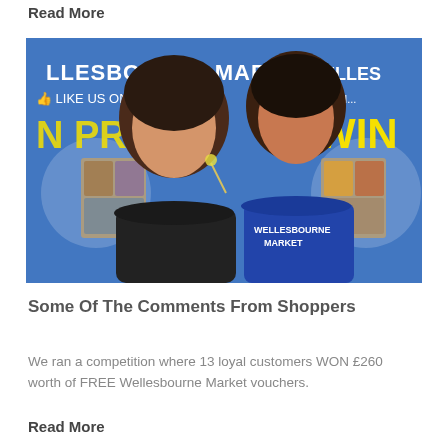Read More
[Figure (photo): Two young women smiling in front of a Wellesbourne Market banner that reads 'Like us on Facebook' and 'WIN'. The woman on the right is wearing a blue Wellesbourne Market sports top.]
Some Of The Comments From Shoppers
We ran a competition where 13 loyal customers WON £260 worth of FREE Wellesbourne Market vouchers.
Read More